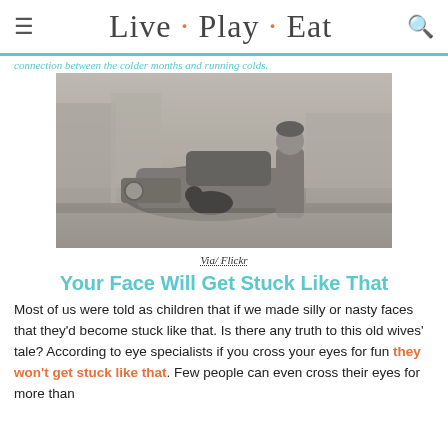Live · Play · Eat
connection between the colder months and running colds.
[Figure (photo): Vintage black and white photo of a young person standing next to an old car with a dog nearby, in a snowy street scene.]
Via/ Flickr
Your Face Will Get Stuck Like That
Most of us were told as children that if we made silly or nasty faces that they'd become stuck like that. Is there any truth to this old wives' tale? According to eye specialists if you cross your eyes for fun they won't get stuck like that. Few people can even cross their eyes for more than